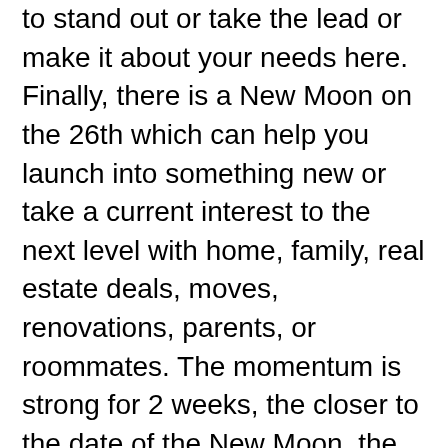to stand out or take the lead or make it about your needs here. Finally, there is a New Moon on the 26th which can help you launch into something new or take a current interest to the next level with home, family, real estate deals, moves, renovations, parents, or roommates. The momentum is strong for 2 weeks, the closer to the date of the New Moon, the stronger.
Saturn and Neptune have been in a rare opportunity alignment that began in January, had a second peak mid-June and now, on the 8th of November, is at it's 3rd and final alignment. Saturn has been doing his part to get you serious, disciplined, looking at ambitions, responsibilities, limits, endings, commitments, authority figures career needs, and timing when it comes to lovers, creative ventures, children, or recreational pursuits. Neptune has been doing his part to get you inspired, artistic romantic, spiritual, focused on any addictions, deceptions